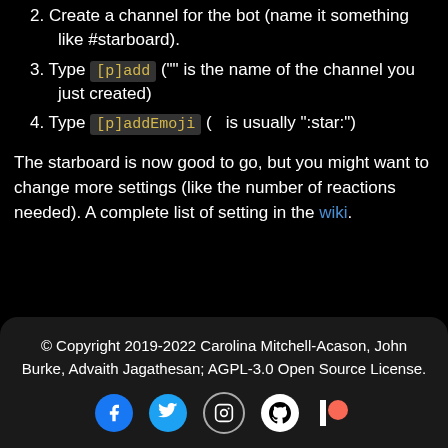2. Create a channel for the bot (name it something like #starboard).
3. Type [p]add ("" is the name of the channel you just created)
4. Type [p]addEmoji (  is usually ":star:")
The starboard is now good to go, but you might want to change more settings (like the number of reactions needed). A complete list of setting in the wiki.
© Copyright 2019-2022 Carolina Mitchell-Acason, John Burke, Advaith Jagathesan; AGPL-3.0 Open Source License.